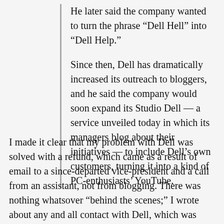He later said the company wanted to turn the phrase “Dell Hell” into “Dell Help.”
Since then, Dell has dramatically increased its outreach to bloggers, and he said the company would soon expand its Studio Dell — a service unveiled today in which its managers blog about their initiatives — to include Dell’s own customers, turning it into a kind of PC-enthusiasts’ YouTube.
I made it clear that my problem with Dell was solved with a refund, which came as a result of email to a since-departed vice-president and a call from an assistant, not from blogging. There was nothing whatsover “behind the scenes;” I wrote about any and all contact with Dell, which was minimal. And let’s also be clear that the real issue in the end was not me or my computer but was Dell’s treatment of its customers and relationship to those who